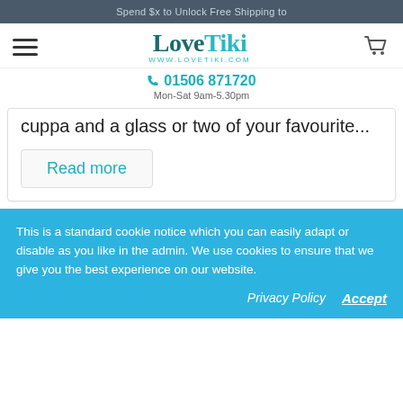Spend $x to Unlock Free Shipping to
[Figure (logo): LoveTiki logo with website URL www.lovetiki.com]
01506 871720
Mon-Sat 9am-5.30pm
cuppa and a glass or two of your favourite...
Read more
This is a standard cookie notice which you can easily adapt or disable as you like in the admin. We use cookies to ensure that we give you the best experience on our website.
Privacy Policy  Accept